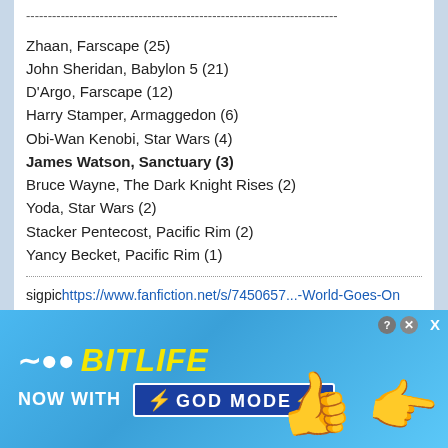------------------------------------------------------------------------
Zhaan, Farscape (25)
John Sheridan, Babylon 5 (21)
D'Argo, Farscape (12)
Harry Stamper, Armaggedon (6)
Obi-Wan Kenobi, Star Wars (4)
James Watson, Sanctuary (3)
Bruce Wayne, The Dark Knight Rises (2)
Yoda, Star Wars (2)
Stacker Pentecost, Pacific Rim (2)
Yancy Becket, Pacific Rim (1)
sigpic https://www.fanfiction.net/s/7450657...-World-Goes-On Sparky story SGA https://www.fanfiction.net/s/10177037/1/Bad-Moon-Rising Teen Wolf fanfic story https://www.fanfiction.net/s/10573271/1/Skyfall Thor fanfic story
[Figure (photo): BitLife advertisement banner with 'NOW WITH GOD MODE' text]